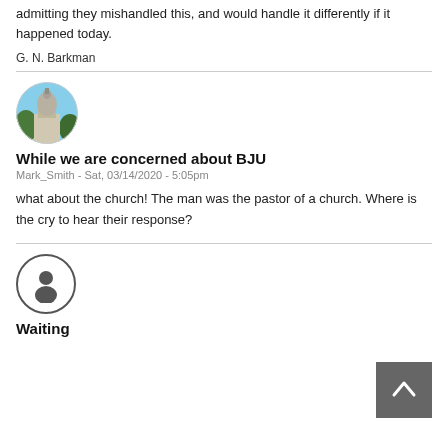admitting they mishandled this, and would handle it differently if it happened today.
G. N. Barkman
[Figure (photo): Circular avatar image showing a building dome with trees]
While we are concerned about BJU
Mark_Smith - Sat, 03/14/2020 - 5:05pm
what about the church! The man was the pastor of a church. Where is the cry to hear their response?
[Figure (illustration): Circular avatar with generic person silhouette icon]
Waiting